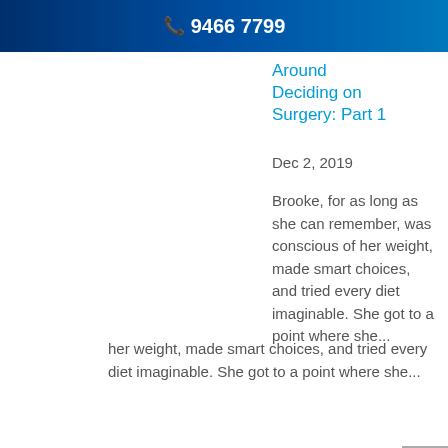9466 7799
Around Deciding on Surgery: Part 1
Dec 2, 2019
Brooke, for as long as she can remember, was conscious of her weight, made smart choices, and tried every diet imaginable. She got to a point where she...
READ MORE
Journal Your Way to Creating